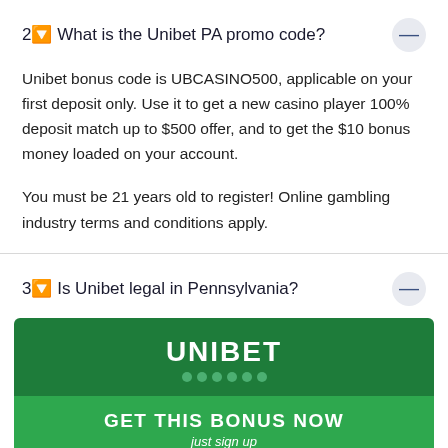2↓ What is the Unibet PA promo code?
Unibet bonus code is UBCASINO500, applicable on your first deposit only. Use it to get a new casino player 100% deposit match up to $500 offer, and to get the $10 bonus money loaded on your account.
You must be 21 years old to register! Online gambling industry terms and conditions apply.
3↓ Is Unibet legal in Pennsylvania?
[Figure (logo): Unibet logo banner in dark green with white bold text UNIBET and green dots below]
[Figure (infographic): GET THIS BONUS NOW button in green with subtitle just sign up]